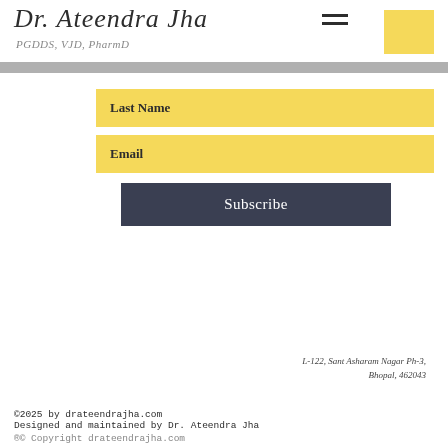Dr. Ateendra Jha
PGDDS, VJD, PharmD
Last Name
Email
Subscribe
L-122, Sant Asharam Nagar Ph-3,
Bhopal, 462043
©2025 by drateendrajha.com
Designed and maintained by Dr. Ateendra Jha
®© Copyright drateendrajha.com